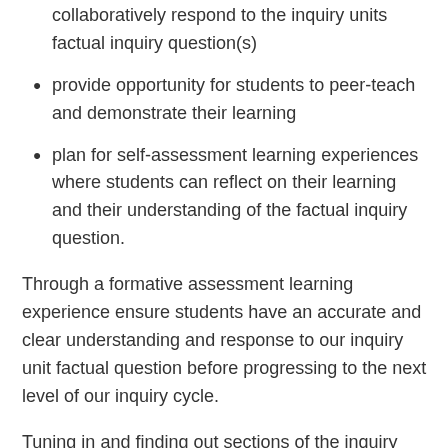collaboratively respond to the inquiry units factual inquiry question(s)
provide opportunity for students to peer-teach and demonstrate their learning
plan for self-assessment learning experiences where students can reflect on their learning and their understanding of the factual inquiry question.
Through a formative assessment learning experience ensure students have an accurate and clear understanding and response to our inquiry unit factual question before progressing to the next level of our inquiry cycle.
Tuning in and finding out sections of the inquiry cycle tend to be primarily teacher-led, however,